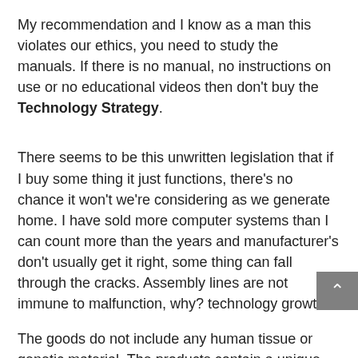My recommendation and I know as a man this violates our ethics, you need to study the manuals. If there is no manual, no instructions on use or no educational videos then don't buy the Technology Strategy.
There seems to be this unwritten legislation that if I buy some thing it just functions, there's no chance it won't we're considering as we generate home. I have sold more computer systems than I can count more than the years and manufacturer's don't usually get it right, some thing can fall through the cracks. Assembly lines are not immune to malfunction, why? technology growth!
The goods do not include any human tissue or genetic material. The products contain a unique blend of peptides which come from amino acids and enzymes which speed up chemical reactions. These unique formulas are designed to encourage new skin growth from your personal pores and skin's current